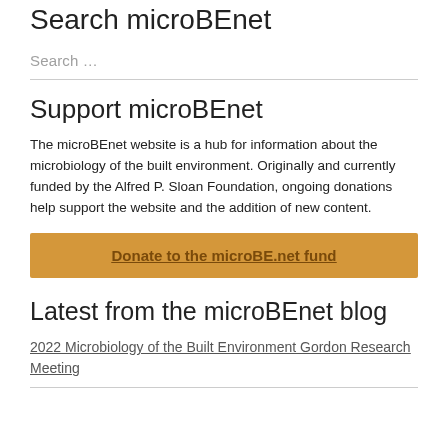Search microBEnet
Search …
Support microBEnet
The microBEnet website is a hub for information about the microbiology of the built environment. Originally and currently funded by the Alfred P. Sloan Foundation, ongoing donations help support the website and the addition of new content.
Donate to the microBE.net fund
Latest from the microBEnet blog
2022 Microbiology of the Built Environment Gordon Research Meeting